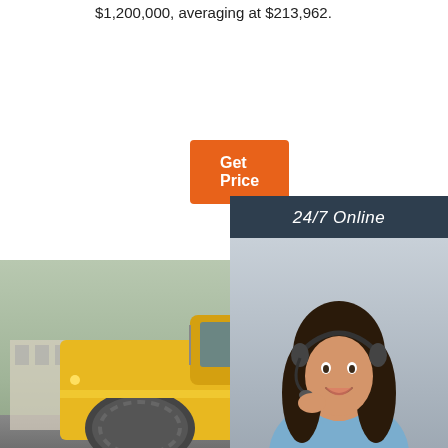$1,200,000, averaging at $213,962.
Get Price
24/7 Online
[Figure (photo): Woman with headset, customer service representative, smiling]
Click here for free chat !
QUOTATION
[Figure (photo): Yellow road rollers / compactor construction equipment parked outdoors]